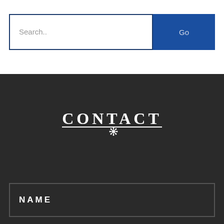Search..
Go
[Figure (logo): CONTACT logo in white serif/decorative font with a snowflake-like emblem below the T, underlined, on dark background]
NAME